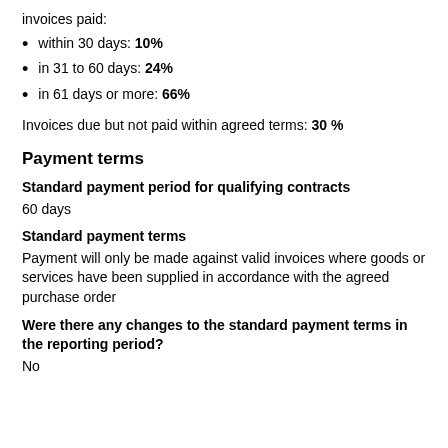invoices paid:
within 30 days: 10%
in 31 to 60 days: 24%
in 61 days or more: 66%
Invoices due but not paid within agreed terms: 30 %
Payment terms
Standard payment period for qualifying contracts
60 days
Standard payment terms
Payment will only be made against valid invoices where goods or services have been supplied in accordance with the agreed purchase order
Were there any changes to the standard payment terms in the reporting period?
No